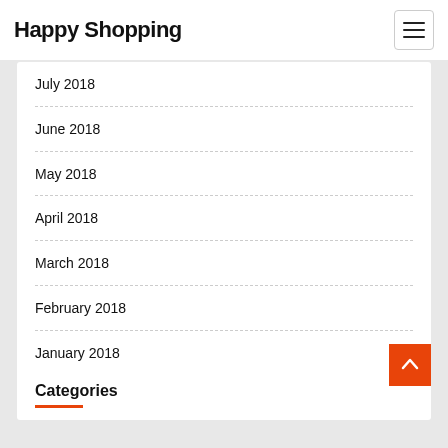Happy Shopping
July 2018
June 2018
May 2018
April 2018
March 2018
February 2018
January 2018
Categories